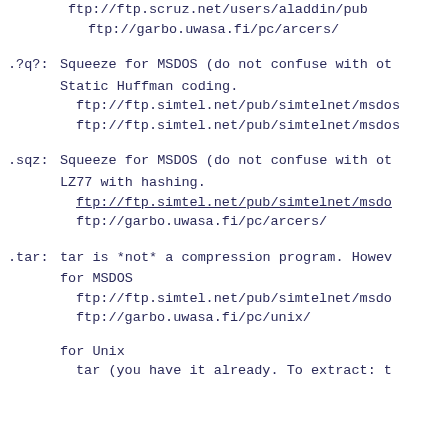ftp://ftp.scruz.net/users/aladdin/pub/
    ftp://garbo.uwasa.fi/pc/arcers/
.?q?: Squeeze for MSDOS (do not confuse with ot
      Static Huffman coding.
       ftp://ftp.simtel.net/pub/simtelnet/msdos
       ftp://ftp.simtel.net/pub/simtelnet/msdos
.sqz: Squeeze for MSDOS (do not confuse with ot
      LZ77 with hashing.
       ftp://ftp.simtel.net/pub/simtelnet/msdo
       ftp://garbo.uwasa.fi/pc/arcers/
.tar: tar is *not* a compression program. Howev
      for MSDOS
       ftp://ftp.simtel.net/pub/simtelnet/msdo
       ftp://garbo.uwasa.fi/pc/unix/

      for Unix
       tar (you have it already. To extract: t